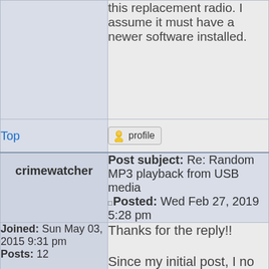this replacement radio. I assume it must have a newer software installed.
Top
profile
crimewatcher
Post subject: Re: Random MP3 playback from USB media Posted: Wed Feb 27, 2019 5:28 pm
Joined: Sun May 03, 2015 9:31 pm Posts: 12
Thanks for the reply!! Since my initial post, I no longer have the 2014 RAV. Leased a